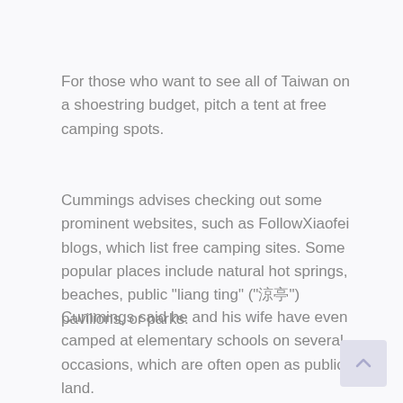For those who want to see all of Taiwan on a shoestring budget, pitch a tent at free camping spots.
Cummings advises checking out some prominent websites, such as FollowXiaofei blogs, which list free camping sites. Some popular places include natural hot springs, beaches, public "liang ting" ("涼亭") pavilions, or parks.
Cummings said he and his wife have even camped at elementary schools on several occasions, which are often open as public land.